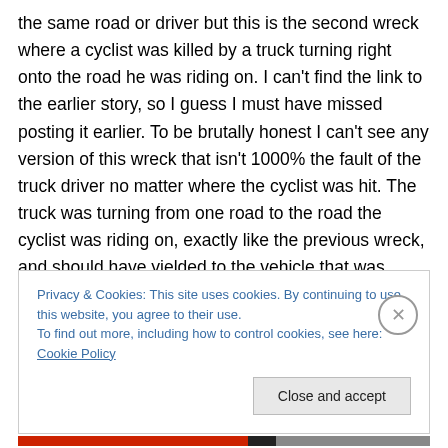the same road or driver but this is the second wreck where a cyclist was killed by a truck turning right onto the road he was riding on. I can't find the link to the earlier story, so I guess I must have missed posting it earlier. To be brutally honest I can't see any version of this wreck that isn't 1000% the fault of the truck driver no matter where the cyclist was hit. The truck was turning from one road to the road the cyclist was riding on, exactly like the previous wreck, and should have yielded to the vehicle that was already on the road. For you to avoid a wreck like this, Intersection protocols with the built environment, or ideally
Privacy & Cookies: This site uses cookies. By continuing to use this website, you agree to their use.
To find out more, including how to control cookies, see here: Cookie Policy